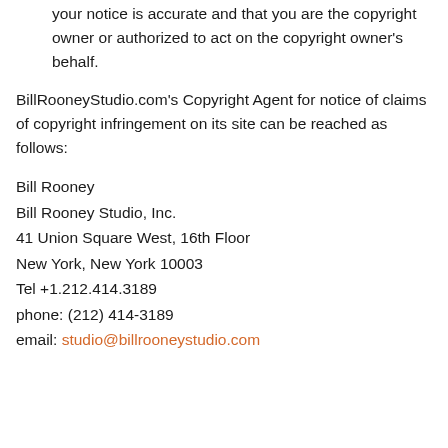your notice is accurate and that you are the copyright owner or authorized to act on the copyright owner's behalf.
BillRooneyStudio.com's Copyright Agent for notice of claims of copyright infringement on its site can be reached as follows:
Bill Rooney
Bill Rooney Studio, Inc.
41 Union Square West, 16th Floor
New York, New York 10003
Tel +1.212.414.3189
phone: (212) 414-3189
email: studio@billrooneystudio.com